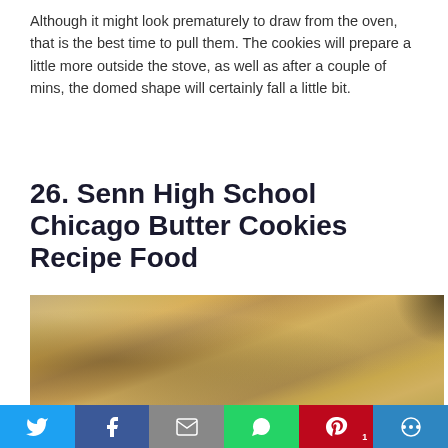Although it might look prematurely to draw from the oven, that is the best time to pull them. The cookies will prepare a little more outside the stove, as well as after a couple of mins, the domed shape will certainly fall a little bit.
26. Senn High School Chicago Butter Cookies Recipe Food
[Figure (photo): Close-up photo of golden butter cookies clustered together, with a slightly dark background visible at the top right.]
Social sharing bar: Twitter, Facebook, Email, WhatsApp, Pinterest (1), More